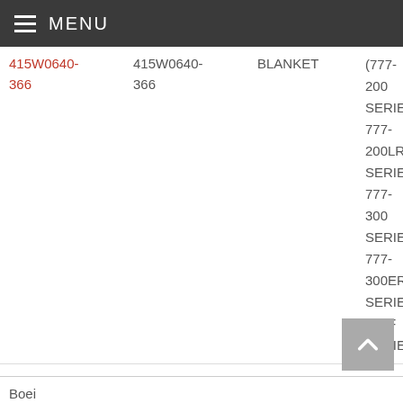MENU
| Part Link | Part Number | Description | Application | Action |
| --- | --- | --- | --- | --- |
| 415W0640-366 | 415W0640-366 | BLANKET | (777-200 SERIES, 777-200LR SERIES, 777-300 SERIES, 777-300ER SERIES, 777F SERIES) | Request For R... |
Boeing...